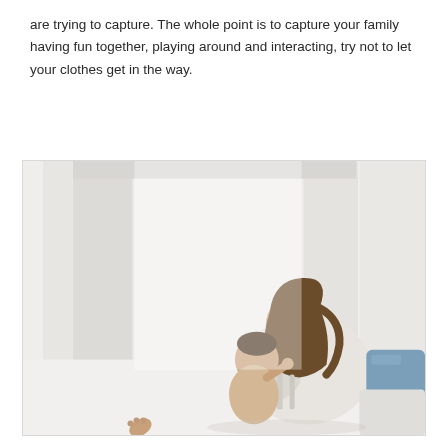are trying to capture. The whole point is to capture your family having fun together, playing around and interacting, try not to let your clothes get in the way.
[Figure (photo): A mother with long brown hair leaning over and kissing or nuzzling a baby/toddler. The scene is very bright and high-key with a large window in the background. A blue pillow and white couch are partially visible on the right side. A small hand or foot is visible at the bottom left.]